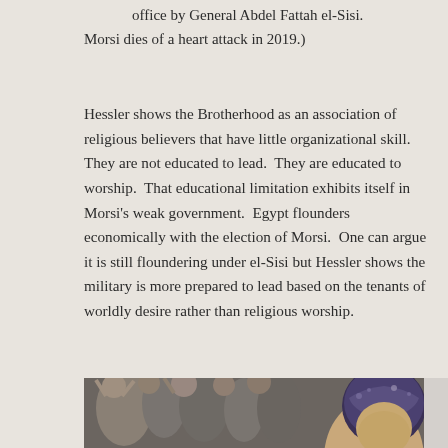office by General Abdel Fattah el-Sisi. Morsi dies of a heart attack in 2019.)
Hessler shows the Brotherhood as an association of religious believers that have little organizational skill.  They are not educated to lead.  They are educated to worship.  That educational limitation exhibits itself in Morsi’s weak government.  Egypt flounders economically with the election of Morsi.  One can argue it is still floundering under el-Sisi but Hessler shows the military is more prepared to lead based on the tenants of worldly desire rather than religious worship.
[Figure (photo): Bottom portion of a photograph showing a crowd scene, partially visible at the bottom of the page. A woman wearing a patterned headscarf is visible on the right side.]